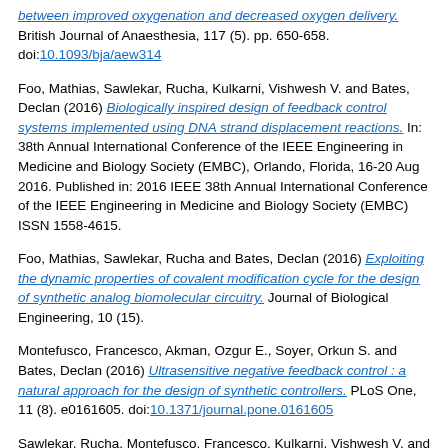between improved oxygenation and decreased oxygen delivery. British Journal of Anaesthesia, 117 (5). pp. 650-658. doi:10.1093/bja/aew314
Foo, Mathias, Sawlekar, Rucha, Kulkarni, Vishwesh V. and Bates, Declan (2016) Biologically inspired design of feedback control systems implemented using DNA strand displacement reactions. In: 38th Annual International Conference of the IEEE Engineering in Medicine and Biology Society (EMBC), Orlando, Florida, 16-20 Aug 2016. Published in: 2016 IEEE 38th Annual International Conference of the IEEE Engineering in Medicine and Biology Society (EMBC) ISSN 1558-4615.
Foo, Mathias, Sawlekar, Rucha and Bates, Declan (2016) Exploiting the dynamic properties of covalent modification cycle for the design of synthetic analog biomolecular circuitry. Journal of Biological Engineering, 10 (15).
Montefusco, Francesco, Akman, Ozgur E., Soyer, Orkun S. and Bates, Declan (2016) Ultrasensitive negative feedback control : a natural approach for the design of synthetic controllers. PLoS One, 11 (8). e0161605. doi:10.1371/journal.pone.0161605
Sawlekar, Rucha, Montefusco, Francesco, Kulkarni, Vishwesh V. and Bates, Declan (2016) Implementing nonlinear feedback controllers using DNA strand displacement reactions. IEEE Transactions on NanoBioscience, 15 (5). 443 -454. doi:10.1109/TNB.2016.2560764